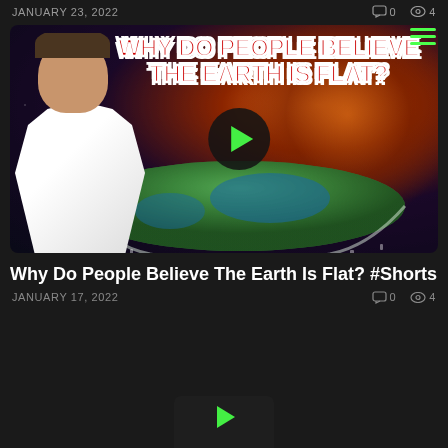JANUARY 23, 2022   0   4
[Figure (screenshot): Video thumbnail showing a man in white shirt against a flat earth and space background, with bold red and white text overlay reading WHY DO PEOPLE BELIEVE THE EARTH IS FLAT?, with a green play button in the center]
Why Do People Believe The Earth Is Flat? #Shorts
JANUARY 17, 2022   0   4
[Figure (screenshot): Partial thumbnail at bottom of page showing green play button triangle on dark background]